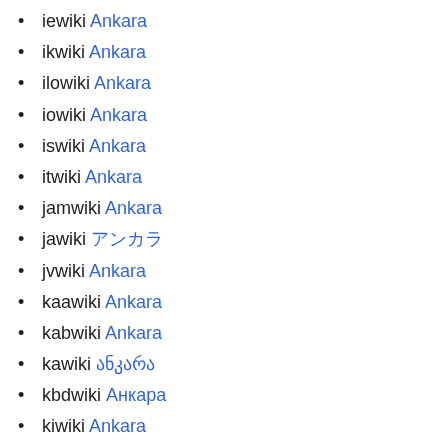iewiki Ankara
ikwiki Ankara
ilowiki Ankara
iowiki Ankara
iswiki Ankara
itwiki Ankara
jamwiki Ankara
jawiki アンカラ
jvwiki Ankara
kaawiki Ankara
kabwiki Ankara
kawiki ანკარა
kbdwiki Анкара
kiwiki Ankara
kkwiki Анкара
knwiki ಅಂಕಾರಾ